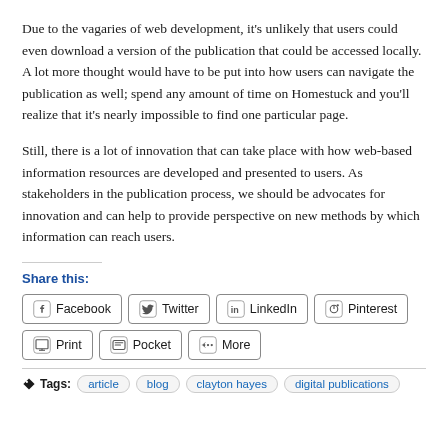Due to the vagaries of web development, it's unlikely that users could even download a version of the publication that could be accessed locally. A lot more thought would have to be put into how users can navigate the publication as well; spend any amount of time on Homestuck and you'll realize that it's nearly impossible to find one particular page.
Still, there is a lot of innovation that can take place with how web-based information resources are developed and presented to users. As stakeholders in the publication process, we should be advocates for innovation and can help to provide perspective on new methods by which information can reach users.
Share this:
Facebook  Twitter  LinkedIn  Pinterest  Print  Pocket  More
Tags: article  blog  clayton hayes  digital publications